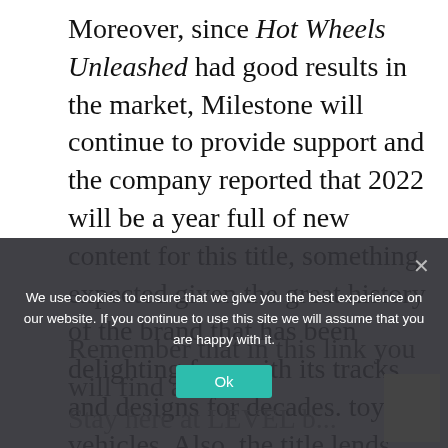Moreover, since Hot Wheels Unleashed had good results in the market, Milestone will continue to provide support and the company reported that 2022 will be a year full of new content for this title, something expected given the great history of the brand that has been delighting fans with its tracks and designs for decades. toy vehicles. Also, the title lends itself to different collaborations, such as the one that took place with DC Comics.
Remember that in this link you will find all the
Stay here at LEVEL b...
[Figure (screenshot): Cookie consent banner overlay with dark semi-transparent background, text reading 'We use cookies to ensure that we give you the best experience on our website. If you continue to use this site we will assume that you are happy with it.' with a teal 'Ok' button and a close X button.]